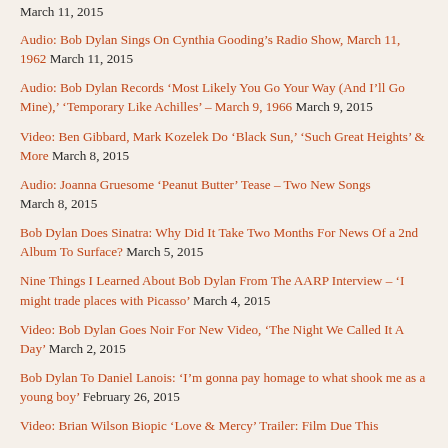March 11, 2015
Audio: Bob Dylan Sings On Cynthia Gooding's Radio Show, March 11, 1962 March 11, 2015
Audio: Bob Dylan Records 'Most Likely You Go Your Way (And I'll Go Mine),' 'Temporary Like Achilles' – March 9, 1966 March 9, 2015
Video: Ben Gibbard, Mark Kozelek Do 'Black Sun,' 'Such Great Heights' & More March 8, 2015
Audio: Joanna Gruesome 'Peanut Butter' Tease – Two New Songs March 8, 2015
Bob Dylan Does Sinatra: Why Did It Take Two Months For News Of a 2nd Album To Surface? March 5, 2015
Nine Things I Learned About Bob Dylan From The AARP Interview – 'I might trade places with Picasso' March 4, 2015
Video: Bob Dylan Goes Noir For New Video, 'The Night We Called It A Day' March 2, 2015
Bob Dylan To Daniel Lanois: 'I'm gonna pay homage to what shook me as a young boy' February 26, 2015
Video: Brian Wilson Biopic 'Love & Mercy' Trailer: Film Due This